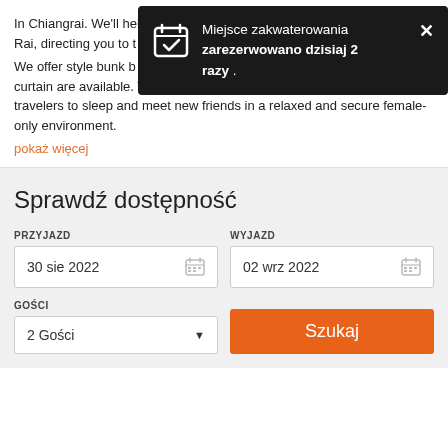In Chiangrai. We'll help you navigate through famous places in Chiang Rai, directing you to the best local attractions, exhibitions, amazing
[Figure (screenshot): Dark notification popup with calendar icon. Text reads: 'Miejsce zakwaterowania zarezerwowano dzisiaj 2 razy .' with an X close button.]
We offer style bunk b... reading light, power outlet and curtain are available. The female-only dormitory is perfect for female travelers to sleep and meet new friends in a relaxed and secure female-only environment.
pokaż więcej
Sprawdź dostępność
PRZYJAZD
30 sie 2022
WYJAZD
02 wrz 2022
GOŚCI
2 Gości
Szukaj